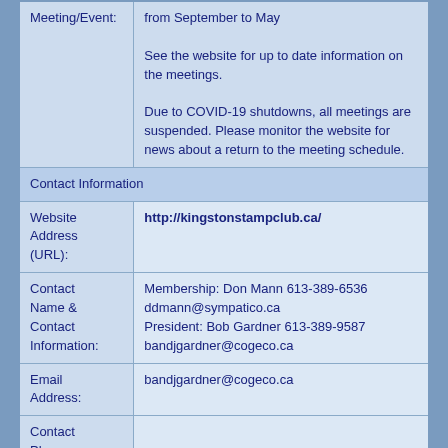| Meeting/Event: | from September to May

See the website for up to date information on the meetings.

Due to COVID-19 shutdowns, all meetings are suspended. Please monitor the website for news about a return to the meeting schedule. |
| Contact Information |  |
| Website Address (URL): | http://kingstonstampclub.ca/ |
| Contact Name & Contact Information: | Membership: Don Mann 613-389-6536
ddmann@sympatico.ca
President: Bob Gardner 613-389-9587
bandjgardner@cogeco.ca |
| Email Address: | bandjgardner@cogeco.ca |
| Contact Phone Number: |  |
| Lake Minnetonka Stamp Club |  |